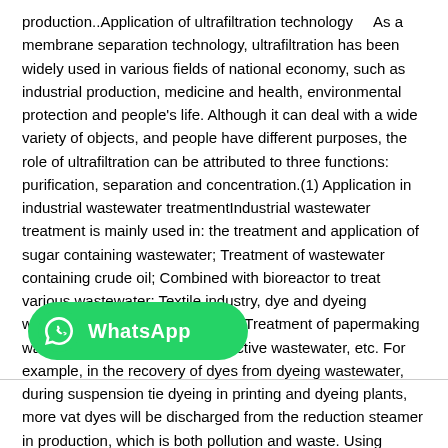production..Application of ultrafiltration technology    As a membrane separation technology, ultrafiltration has been widely used in various fields of national economy, such as industrial production, medicine and health, environmental protection and people's life. Although it can deal with a wide variety of objects, and people have different purposes, the role of ultrafiltration can be attributed to three functions: purification, separation and concentration.(1) Application in industrial wastewater treatmentIndustrial wastewater treatment is mainly used in: the treatment and application of sugar containing wastewater; Treatment of wastewater containing crude oil; Combined with bioreactor to treat various wastewater; Textile industry, dye and dyeing wastewater treatment and reuse; Treatment of papermaking wastewater; Treatment of radioactive wastewater, etc. For example, in the recovery of dyes from dyeing wastewater, during suspension tie dyeing in printing and dyeing plants, more vat dyes will be discharged from the reduction steamer in production, which is both pollution and waste. Using u…polysulfone and polysulfone amide ultrafiltration me…printing and dyeing wastewater can be treated without acid
[Figure (other): WhatsApp promotional badge/button overlay on the document page]